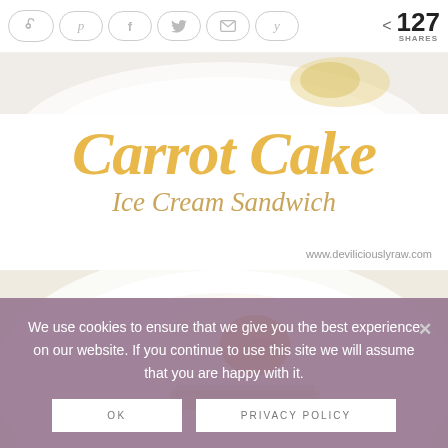[Figure (screenshot): Social sharing bar with Pinterest, Facebook, Twitter, Email, Yummly buttons and share count of 127]
[Figure (photo): Top portion of a white plate with food, cropped]
Carrot Cake
Ice Cream Sandwich
www.deviliciouslyraw.com
[Figure (photo): Top-down view of carrot cake ice cream sandwich on white plate, showing orange carrot filling]
We use cookies to ensure that we give you the best experience on our website. If you continue to use this site we will assume that you are happy with it.
OK
PRIVACY POLICY